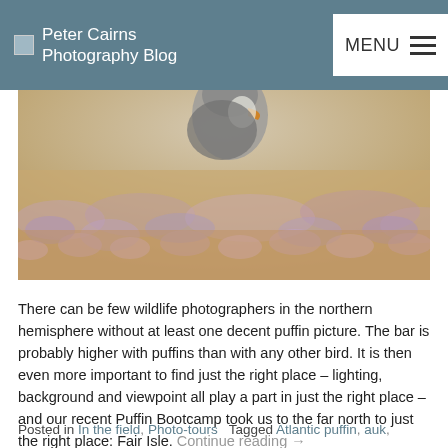Peter Cairns Photography Blog
[Figure (photo): Close-up photo of a puffin standing among heather/wildflowers, shot from ground level with blurred floral foreground and warm golden light]
There can be few wildlife photographers in the northern hemisphere without at least one decent puffin picture. The bar is probably higher with puffins than with any other bird. It is then even more important to find just the right place – lighting, background and viewpoint all play a part in just the right place – and our recent Puffin Bootcamp took us to the far north to just the right place: Fair Isle. Continue reading →
Posted in In the field, Photo-tours   Tagged Atlantic puffin, auk,